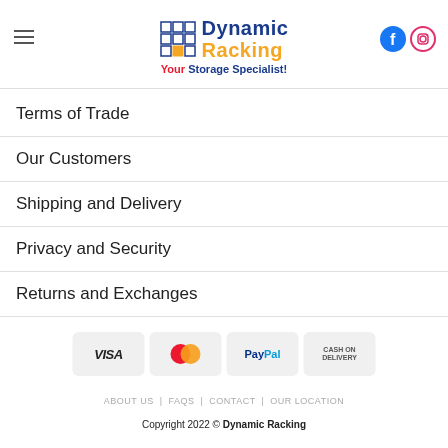[Figure (logo): Dynamic Racking logo with grid icon, brand name in blue and orange, tagline 'Your Storage Specialist!' in red and blue, plus Facebook and Instagram social icons]
Terms of Trade
Our Customers
Shipping and Delivery
Privacy and Security
Returns and Exchanges
[Figure (infographic): Payment method icons: VISA, MasterCard, PayPal, Cash on Delivery]
ABOUT US   FAQS   CONTACT   OUR LOCATION
Copyright 2022 © Dynamic Racking